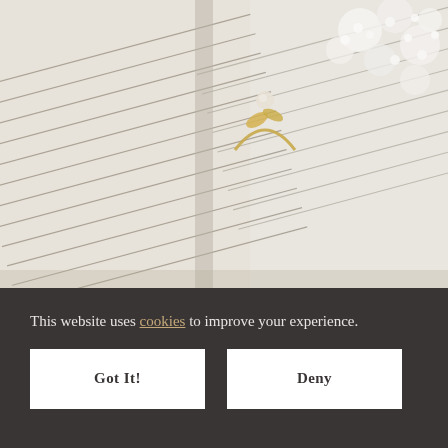[Figure (photo): Close-up photo of an open book with text pages and a delicate gold ring with a small pearl/moonstone placed on top, alongside small white gypsophila flowers in the upper right corner.]
Milky Fern 14k Solid White Gold Bypass Ring
This website uses cookies to improve your experience.
Got It!
Deny